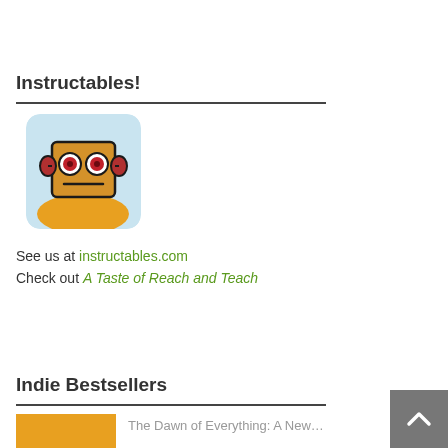Instructables!
[Figure (illustration): Instructables robot mascot illustration: a box-headed cartoon robot with red circular eyes, small red ear-like attachments, and a simple mouth, sitting above a yellow mound, on a light blue rounded square background.]
See us at instructables.com
Check out A Taste of Reach and Teach
Indie Bestsellers
[Figure (illustration): Orange/yellow book thumbnail placeholder]
The Dawn of Everything: A New…